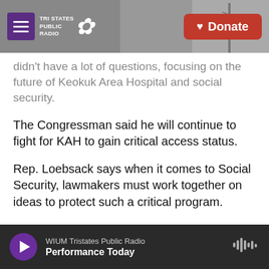Tri States Public Radio — Donate
didn't have a lot of questions, focusing on the future of Keokuk Area Hospital and social security.
The Congressman said he will continue to fight for KAH to gain critical access status.
Rep. Loebsack says when it comes to Social Security, lawmakers must work together on ideas to protect such a critical program.
He says Social Security is also personal to him, having grown up on Social Security and utilizing its benefits to get through college.
WIUM Tristates Public Radio — Performance Today